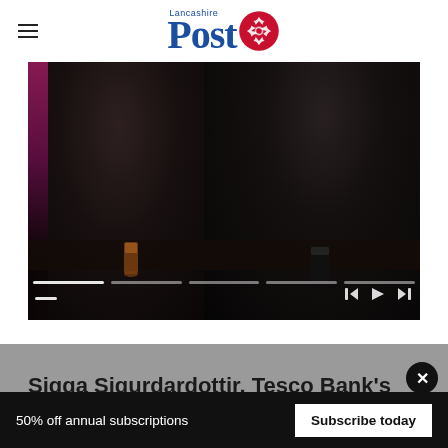Lancashire Post
[Figure (photo): Two men in black hoodies/jackets sitting at a bar, holding pints of dark beer, smiling. Pink and blue bar lighting in background. Slideshow navigation controls visible at bottom.]
Sigga Sigurdardottir, Tesco Bank's chief
50% off annual subscriptions
Subscribe today